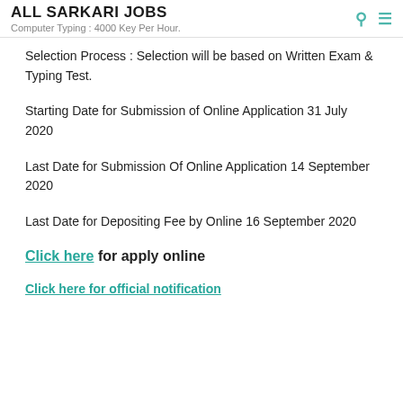ALL SARKARI JOBS
Computer Typing : 4000 Key Per Hour.
Selection Process : Selection will be based on Written Exam & Typing Test.
Starting Date for Submission of Online Application 31 July 2020
Last Date for Submission Of Online Application 14 September 2020
Last Date for Depositing Fee by Online 16 September 2020
Click here for apply online
Click here for official notification